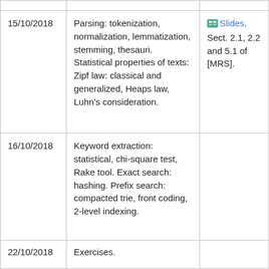| Date | Topic | References |
| --- | --- | --- |
| 15/10/2018 | Parsing: tokenization, normalization, lemmatization, stemming, thesauri. Statistical properties of texts: Zipf law: classical and generalized, Heaps law, Luhn's consideration. | Slides. Sect. 2.1, 2.2 and 5.1 of [MRS]. |
| 16/10/2018 | Keyword extraction: statistical, chi-square test, Rake tool. Exact search: hashing. Prefix search: compacted trie, front coding, 2-level indexing. |  |
| 22/10/2018 | Exercises. |  |